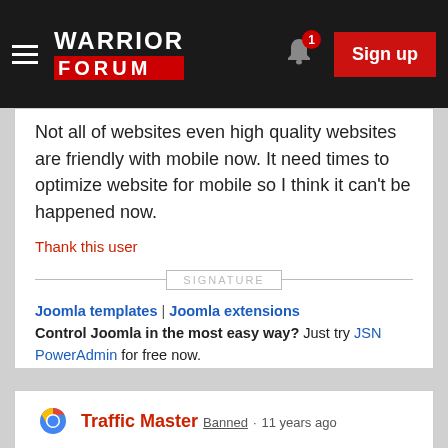Warrior Forum | Sign up
Not all of websites even high quality websites are friendly with mobile now. It need times to optimize website for mobile so I think it can't be happened now.
Thank this user
SIGNATURE
Joomla templates | Joomla extensions Control Joomla in the most easy way? Just try JSN PowerAdmin for free now. Ebook "Joomla 2.5 Made easy" - Get for
Traffic Master Banned · 11 years ago
Thats like the Mobile Revolution.